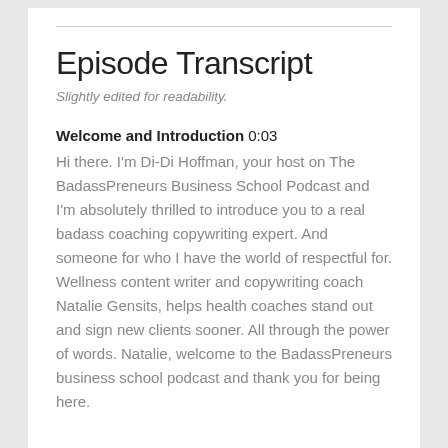Episode Transcript
Slightly edited for readability.
Welcome and Introduction 0:03
Hi there. I'm Di-Di Hoffman, your host on The BadassPreneurs Business School Podcast and I'm absolutely thrilled to introduce you to a real badass coaching copywriting expert. And someone for who I have the world of respectful for. Wellness content writer and copywriting coach Natalie Gensits, helps health coaches stand out and sign new clients sooner. All through the power of words. Natalie, welcome to the BadassPreneurs business school podcast and thank you for being here.